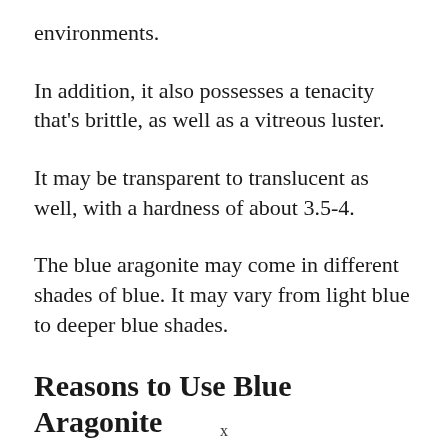environments.
In addition, it also possesses a tenacity that's brittle, as well as a vitreous luster.
It may be transparent to translucent as well, with a hardness of about 3.5-4.
The blue aragonite may come in different shades of blue. It may vary from light blue to deeper blue shades.
Reasons to Use Blue Aragonite
x